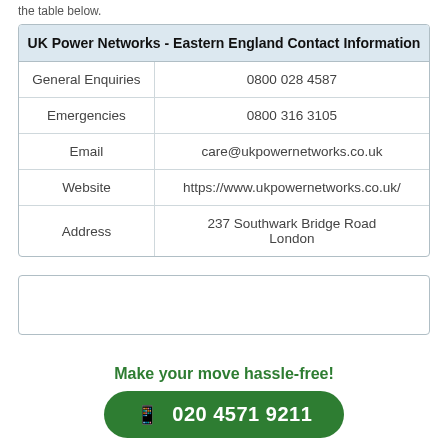the table below.
| UK Power Networks - Eastern England Contact Information |
| --- |
| General Enquiries | 0800 028 4587 |
| Emergencies | 0800 316 3105 |
| Email | care@ukpowernetworks.co.uk |
| Website | https://www.ukpowernetworks.co.uk/ |
| Address | 237 Southwark Bridge Road
London |
Make your move hassle-free!
020 4571 9211